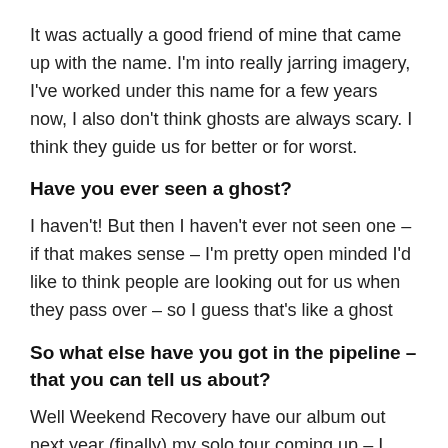It was actually a good friend of mine that came up with the name. I'm into really jarring imagery, I've worked under this name for a few years now, I also don't think ghosts are always scary. I think they guide us for better or for worst.
Have you ever seen a ghost?
I haven't! But then I haven't ever not seen one – if that makes sense – I'm pretty open minded I'd like to think people are looking out for us when they pass over – so I guess that's like a ghost
So what else have you got in the pipeline – that you can tell us about?
Well Weekend Recovery have our album out next year (finally) my solo tour coming up – I actually feel busier now than I did pre-lockdown if that was even possible!!